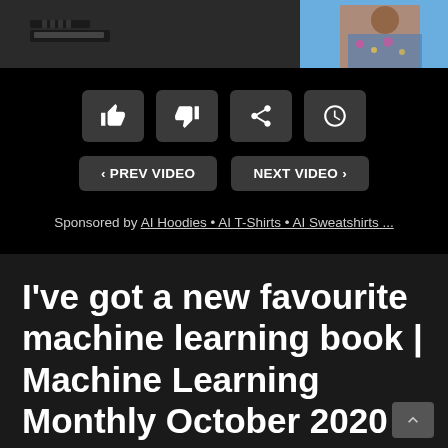[Figure (screenshot): Video thumbnail strip showing a laptop on the left and a person in floral shirt on the right]
[Figure (screenshot): Four icon buttons: thumbs up, thumbs down, share, clock/watch later]
[Figure (screenshot): Two navigation buttons: PREV VIDEO and NEXT VIDEO]
Sponsored by AI Hoodies • AI T-Shirts • AI Sweatshirts ...
I've got a new favourite machine learning book | Machine Learning Monthly October 2020